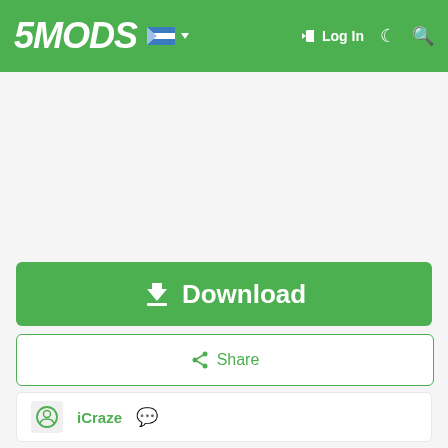5MODS | Log In
[Figure (screenshot): Green navigation bar with 5MODS logo, flag icon, Log In button and search icons]
[Figure (other): Large green Download button with download arrow icon]
[Figure (other): White Share button with share icon, outlined in green]
[Figure (other): Author card showing user iCraze with avatar placeholder and chat icon]